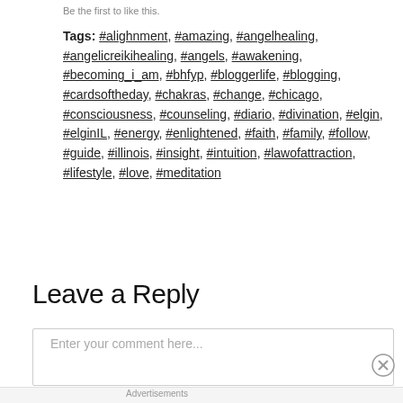Be the first to like this.
Tags: #alighnment, #amazing, #angelhealing, #angelicreikihealing, #angels, #awakening, #becoming_i_am, #bhfyp, #bloggerlife, #blogging, #cardsoftheday, #chakras, #change, #chicago, #consciousness, #counseling, #diario, #divination, #elgin, #elginIL, #energy, #enlightened, #faith, #family, #follow, #guide, #illinois, #insight, #intuition, #lawofattraction, #lifestyle, #love, #meditation
Leave a Reply
Enter your comment here...
Advertisements